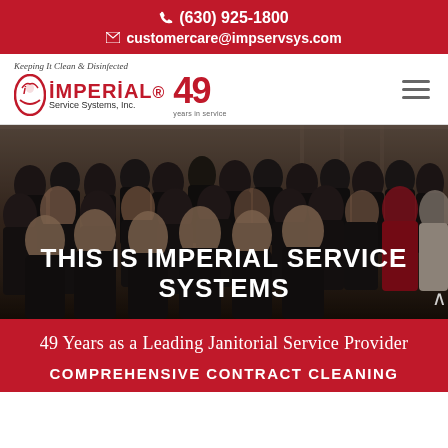(630) 925-1800
customercare@impservsys.com
[Figure (logo): Imperial Service Systems, Inc. logo with tagline 'Keeping It Clean & Disinfected' and 49th anniversary badge]
[Figure (photo): Large group photo of Imperial Service Systems staff posed together in dark uniforms, with the text 'THIS IS IMPERIAL SERVICE SYSTEMS' overlaid in white bold uppercase letters]
49 Years as a Leading Janitorial Service Provider
COMPREHENSIVE CONTRACT CLEANING